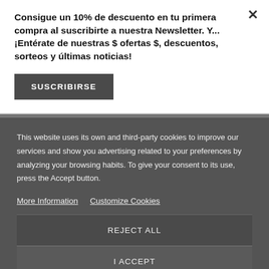Consigue un 10% de descuento en tu primera compra al suscribirte a nuestra Newsletter. Y...¡Entérate de nuestras $ ofertas $, descuentos, sorteos y últimas noticias!
SUSCRIBIRSE
This website uses its own and third-party cookies to improve our services and show you advertising related to your preferences by analyzing your browsing habits. To give your consent to its use, press the Accept button.
More Information
Customize Cookies
REJECT ALL
I ACCEPT
Entregamos todos los pedidos a partir del 22 de agosto